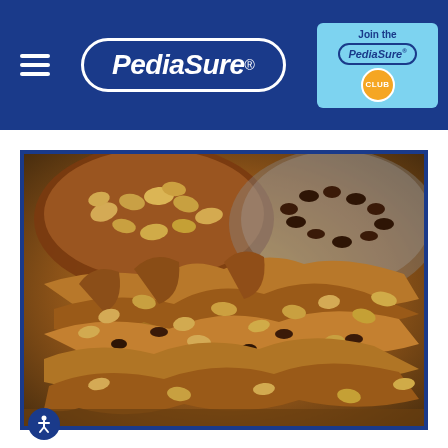[Figure (logo): PediaSure brand header with dark blue background, hamburger menu icon on left, PediaSure logo in center with white pill border, and 'Join the PediaSure Club' badge in light blue on the right]
[Figure (photo): Close-up food photo of a baked bread pudding casserole with peanuts and chocolate chips, with bowls of peanuts and chocolate chips visible in the background, inside a dark blue border frame]